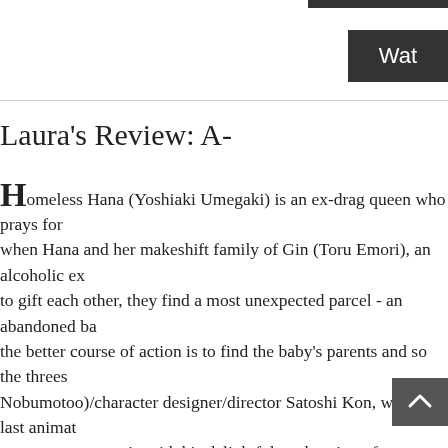Wat
Laura's Review: A-
Homeless Hana (Yoshiaki Umegaki) is an ex-drag queen who prays for when Hana and her makeshift family of Gin (Toru Emori), an alcoholic ex to gift each other, they find a most unexpected parcel - an abandoned ba the better course of action is to find the baby's parents and so the threes Nobumotoo)/character designer/director Satoshi Kon, whose last animat progresses yet again with his delightful exploration of alternative family t "Actress," where characters' stories continually reflect onto others like a m "Three Godfathers" while becoming the first animator to address the issu the squabbling threesome have found together what they've lost in life. G and Miyuki has run from her guilt-ridden rift with her policeman father ove with the mob, a kidnapper and multiple ambulances, they also each ake oconomic considerations to hygiene to prejudice and sadistic bullying